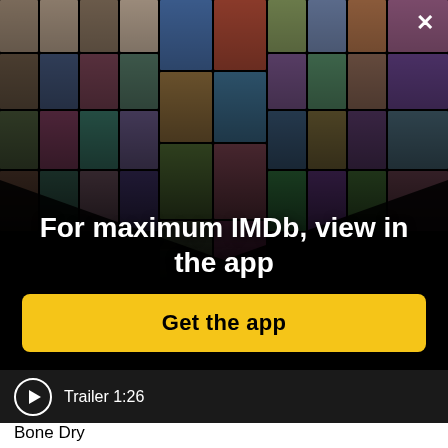[Figure (screenshot): IMDb app promotion overlay with mosaic of celebrity photos and movie posters arranged in a perspective grid on a black background, with a close (X) button in the top right corner]
For maximum IMDb, view in the app
Get the app
[Figure (screenshot): Video thumbnail strip showing a play button circle icon with text 'Trailer 1:26']
Bone Dry